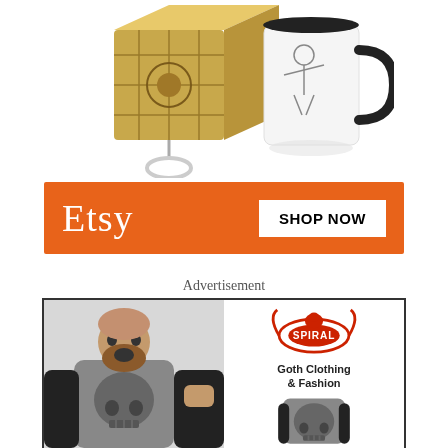[Figure (photo): Product photo showing a gold puzzle-box keychain and a black-handled white ceramic mug with a figure printed on it]
[Figure (infographic): Etsy orange banner with white Etsy logo text on left and a 'SHOP NOW' button on right]
Advertisement
[Figure (infographic): Spiral brand advertisement showing a man wearing a gray skull raglan t-shirt yelling, and the back view of the same shirt, with the Spiral logo and 'Goth Clothing & Fashion' text]